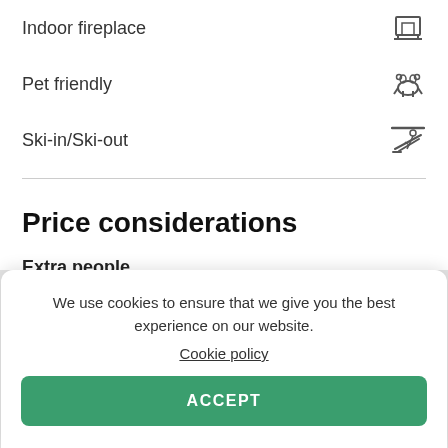Indoor fireplace
Pet friendly
Ski-in/Ski-out
Price considerations
Extra people
No charge
We use cookies to ensure that we give you the best experience on our website.
Cookie policy
ACCEPT